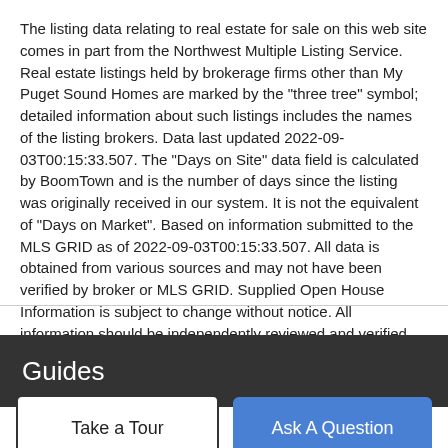The listing data relating to real estate for sale on this web site comes in part from the Northwest Multiple Listing Service. Real estate listings held by brokerage firms other than My Puget Sound Homes are marked by the "three tree" symbol; detailed information about such listings includes the names of the listing brokers. Data last updated 2022-09-03T00:15:33.507. The "Days on Site" data field is calculated by BoomTown and is the number of days since the listing was originally received in our system. It is not the equivalent of "Days on Market". Based on information submitted to the MLS GRID as of 2022-09-03T00:15:33.507. All data is obtained from various sources and may not have been verified by broker or MLS GRID. Supplied Open House Information is subject to change without notice. All information should be independently reviewed and verified for accuracy. Properties may or may not be listed by the office/agent presenting the information.
Guides
Take a Tour
Ask A Question